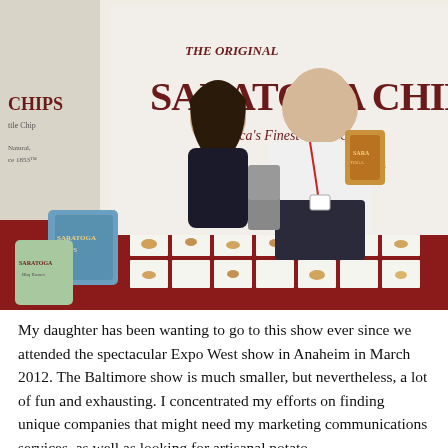[Figure (photo): Two people posing at a trade show booth for 'The Original Saratoga Chips, America's Finest Kettle Chip'. A woman and a large man in a white shirt stand together behind a table displaying potato chips on small white squares. Bags of Saratoga Chips products are visible, along with banners promoting the brand.]
My daughter has been wanting to go to this show ever since we attended the spectacular Expo West show in Anaheim in March 2012. The Baltimore show is much smaller, but nevertheless, a lot of fun and exhausting. I concentrated my efforts on finding unique companies that might need my marketing communications services, as well as looking for artisanal potato